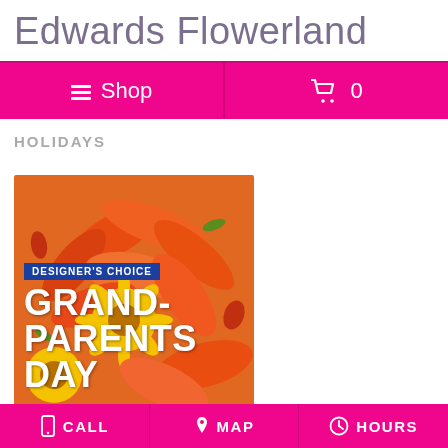Edwards Flowerland
Shop  0
HOLIDAYS
[Figure (photo): Flower arrangement with orange lilies and yellow gerbera daisies with overlay text reading DESIGNER'S CHOICE GRAND-PARENTS DAY]
CALL  MAP  HOURS